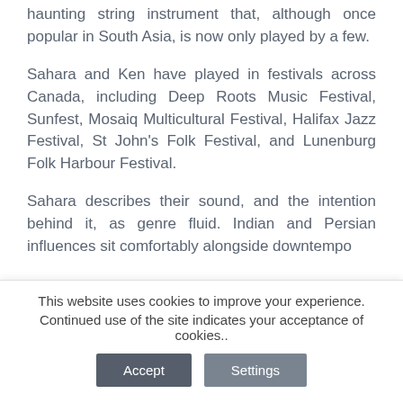haunting string instrument that, although once popular in South Asia, is now only played by a few.
Sahara and Ken have played in festivals across Canada, including Deep Roots Music Festival, Sunfest, Mosaiq Multicultural Festival, Halifax Jazz Festival, St John's Folk Festival, and Lunenburg Folk Harbour Festival.
Sahara describes their sound, and the intention behind it, as genre fluid. Indian and Persian influences sit comfortably alongside downtempo
This website uses cookies to improve your experience. Continued use of the site indicates your acceptance of cookies..